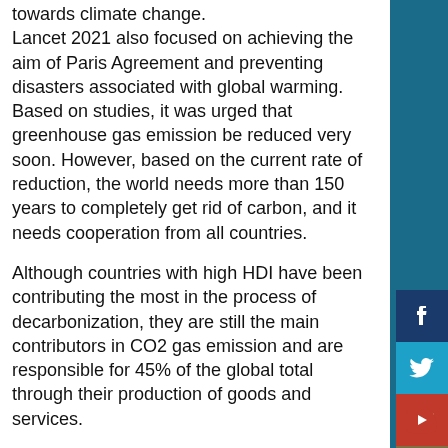towards climate change.
Lancet 2021 also focused on achieving the aim of Paris Agreement and preventing disasters associated with global warming. Based on studies, it was urged that greenhouse gas emission be reduced very soon. However, based on the current rate of reduction, the world needs more than 150 years to completely get rid of carbon, and it needs cooperation from all countries.
Although countries with high HDI have been contributing the most in the process of decarbonization, they are still the main contributors in CO2 gas emission and are responsible for 45% of the global total through their production of goods and services.
With slower decarbonization rate and poorer air quality regulations compared with those in very high HDI countries, medium and high HDI countries release the smallest particles and have the highest rate of death related to air pollution, 50% higher than the rate in high HDI countries.